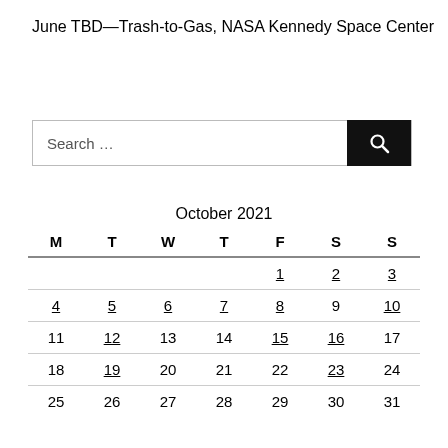June TBD—Trash-to-Gas, NASA Kennedy Space Center
[Figure (other): Search bar with text input field 'Search ...' and a black search button with magnifying glass icon]
| M | T | W | T | F | S | S |
| --- | --- | --- | --- | --- | --- | --- |
|  |  |  |  | 1 | 2 | 3 |
| 4 | 5 | 6 | 7 | 8 | 9 | 10 |
| 11 | 12 | 13 | 14 | 15 | 16 | 17 |
| 18 | 19 | 20 | 21 | 22 | 23 | 24 |
| 25 | 26 | 27 | 28 | 29 | 30 | 31 |